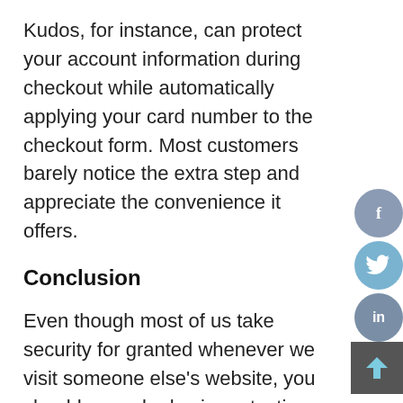Kudos, for instance, can protect your account information during checkout while automatically applying your card number to the checkout form. Most customers barely notice the extra step and appreciate the convenience it offers.
Conclusion
Even though most of us take security for granted whenever we visit someone else's website, you should never be lax in protecting data for your customers and your business. Don't underestimate your own protective measures, and continue to monitor your processes to see where you can improve.